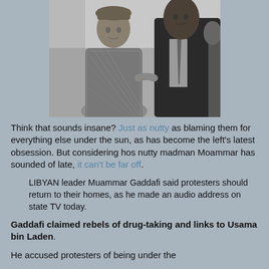[Figure (photo): Black and white photograph of two men shaking hands. The man on the left wears a patterned robe and a cap (Muammar Gaddafi). The man on the right wears a dark suit (Barack Obama).]
Think that sounds insane? Just as nutty as blaming them for everything else under the sun, as has become the left's latest obsession. But considering hos nutty madman Moammar has sounded of late, it can't be far off.
LIBYAN leader Muammar Gaddafi said protesters should return to their homes, as he made an audio address on state TV today.
Gaddafi claimed rebels of drug-taking and links to Usama bin Laden.
He accused protesters of being under the